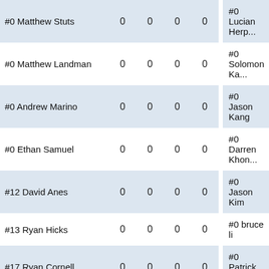| Player |  |  |  |  | Player |
| --- | --- | --- | --- | --- | --- |
| #0 Matthew Stuts | 0 | 0 | 0 | 0 | #0 Lucian Herp... |
| #0 Matthew Landman | 0 | 0 | 0 | 0 | #0 Solomon Ka... |
| #0 Andrew Marino | 0 | 0 | 0 | 0 | #0 Jason Kang |
| #0 Ethan Samuel | 0 | 0 | 0 | 0 | #0 Darren Khon... |
| #12 David Anes | 0 | 0 | 0 | 0 | #0 Jason Kim |
| #13 Ryan Hicks | 0 | 0 | 0 | 0 | #0 bruce li |
| #17 Ryan Cornell | 0 | 0 | 0 | 0 | #0 Patrick Lippe... |
| #18 Christian Schaefer | 0 | 0 | 0 | 0 | #0 Andrew Liu |
| #28 Andrew Lunavictoria | 0 | 0 | 0 | 0 | #0 Kyler McKee... |
| #31 Russell Gaudet | 0 | 0 | 0 | 0 | #0 Harsh Patel |
| #33 Mike Wong | 0 | 0 | 0 | 0 | #0 Jaidev Phad... |
| #54 Zachary Bruno | 0 | 0 | 0 | 0 | #0 Andrew Que... |
| #88 Samuel Barron | 0 | 0 | 0 | 0 | #0 Grant Rogin... |